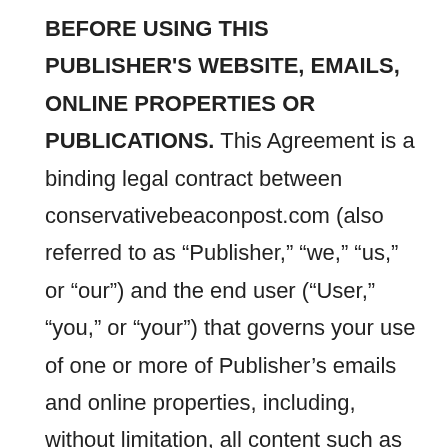BEFORE USING THIS PUBLISHER'S WEBSITE, EMAILS, ONLINE PROPERTIES OR PUBLICATIONS. This Agreement is a binding legal contract between conservativebeaconpost.com (also referred to as “Publisher,” “we,” “us,” or “our”) and the end user (“User,” “you,” or “your”) that governs your use of one or more of Publisher’s emails and online properties, including, without limitation, all content such as text, information, images, applications and audio (collectively, “Content”) and all services (“Services”) made available to you through the Publisher by us and/or third-parties (this website and the Content and